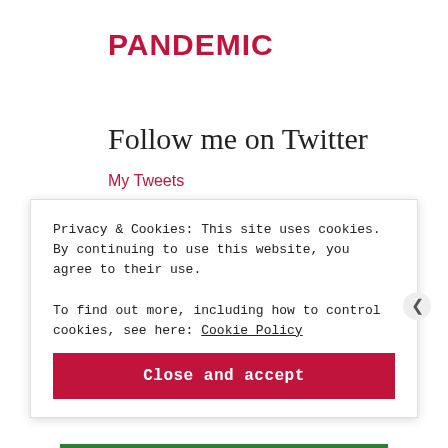PANDEMIC
Follow me on Twitter
My Tweets
EVENTS
12/7 PANDEMIC @ BRILLO
Privacy & Cookies: This site uses cookies. By continuing to use this website, you agree to their use.
To find out more, including how to control cookies, see here: Cookie Policy
Close and accept